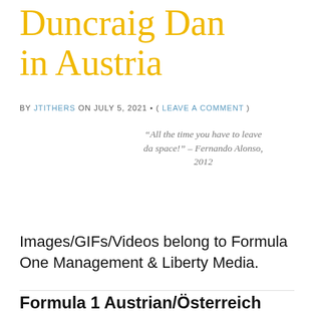Duncraig Dan in Austria
BY JTITHERS ON JULY 5, 2021 • ( LEAVE A COMMENT )
“All the time you have to leave da space!” – Fernando Alonso, 2012
Images/GIFs/Videos belong to Formula One Management & Liberty Media.
Formula 1 Austrian/Österreich